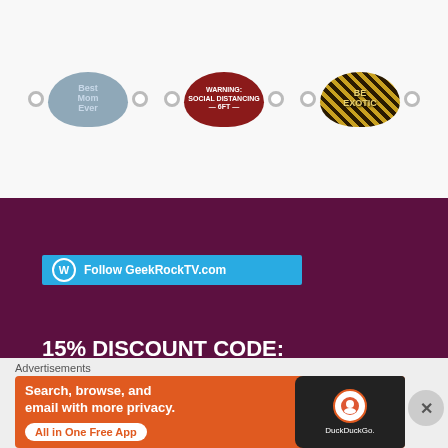[Figure (photo): Three face masks displayed: a blue-gray 'Best Mom Ever' mask, a dark red 'WARNING: SOCIAL DISTANCING 6FT' mask, and a tiger-print 'BE EXOTIC' mask, each with ear loops shown.]
Follow GeekRockTV.com
15% DISCOUNT CODE: 'GEEKROCKTV' —> TMNT
Advertisements
[Figure (screenshot): DuckDuckGo advertisement: orange background with text 'Search, browse, and email with more privacy. All in One Free App' with a phone mockup showing the DuckDuckGo logo.]